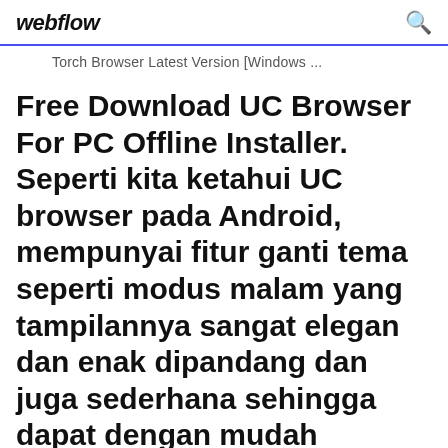webflow
Torch Browser Latest Version [Windows ...
Free Download UC Browser For PC Offline Installer. Seperti kita ketahui UC browser pada Android, mempunyai fitur ganti tema seperti modus malam yang tampilannya sangat elegan dan enak dipandang dan juga sederhana sehingga dapat dengan mudah digunakan oleh siapapun.Lalu apa saja fitur yang ada pada UC Browser For PC, ini